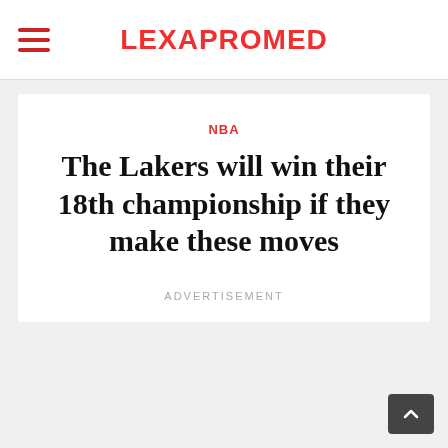LEXAPROMED
NBA
The Lakers will win their 18th championship if they make these moves
ADVERTISEMENT